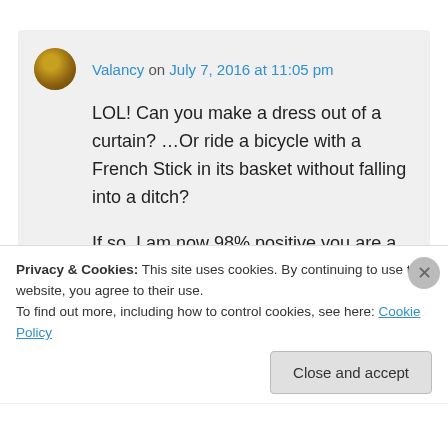Valancy on July 7, 2016 at 11:05 pm
LOL! Can you make a dress out of a curtain? …Or ride a bicycle with a French Stick in its basket without falling into a ditch?

If so, I am now 98% positive you are a reincarnate of a Neels heroine.

When you got to the wardrobe makeover
Privacy & Cookies: This site uses cookies. By continuing to use this website, you agree to their use.
To find out more, including how to control cookies, see here: Cookie Policy
Close and accept